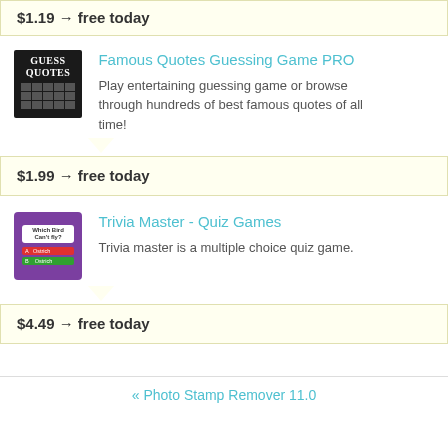$1.19 → free today
[Figure (screenshot): App icon for Famous Quotes Guessing Game PRO — dark background with GUESS QUOTES text and a grid]
Famous Quotes Guessing Game PRO
Play entertaining guessing game or browse through hundreds of best famous quotes of all time!
$1.99 → free today
[Figure (screenshot): App icon for Trivia Master - Quiz Games — purple background with a quiz question and answer options]
Trivia Master - Quiz Games
Trivia master is a multiple choice quiz game.
$4.49 → free today
« Photo Stamp Remover 11.0